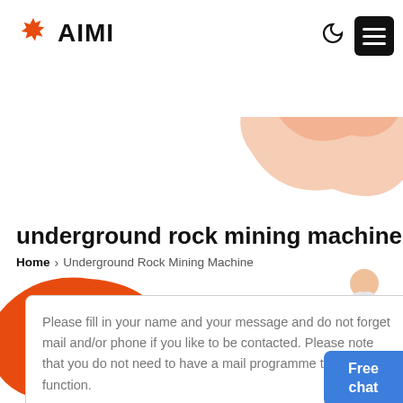[Figure (logo): AIMI logo with orange sunburst icon and bold AIMI text]
[Figure (illustration): Decorative orange and peach blob shapes in top-right and bottom-left corners with a small person figure illustration]
underground rock mining machine
Home > Underground Rock Mining Machine
Free chat
Please fill in your name and your message and do not forget mail and/or phone if you like to be contacted. Please note that you do not need to have a mail programme to use this function.
Products: Please Select!